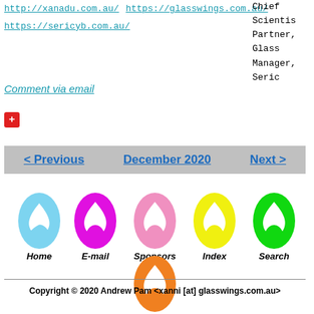http://xanadu.com.au/
https://glasswings.com.au/
https://sericyb.com.au/
Chief Scientist
Partner, Glass
Manager, Seric
Comment via email
+
< Previous   December 2020   Next >
[Figure (illustration): Navigation icons: Home (blue egg), E-mail (magenta egg), Sponsors (pink egg), Index (yellow egg), Search (green egg), About Us (orange egg) — each egg has a white swift/glasswing butterfly logo inside]
Copyright © 2020 Andrew Pam <xanni [at] glasswings.com.au>